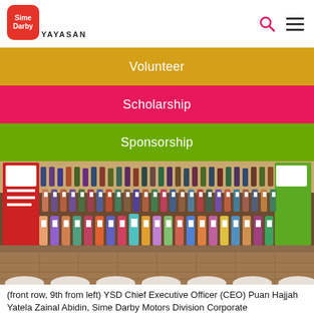Sime Darby YAYASAN
Volunteer
Scholarship
Sponsorship
[Figure (photo): Large group photo of scholarship recipients holding certificates at an event, with Sime Darby banners in the background. Rows of participants seated and standing.]
(front row, 9th from left) YSD Chief Executive Officer (CEO) Puan Hajjah Yatela Zainal Abidin, Sime Darby Motors Division Corporate